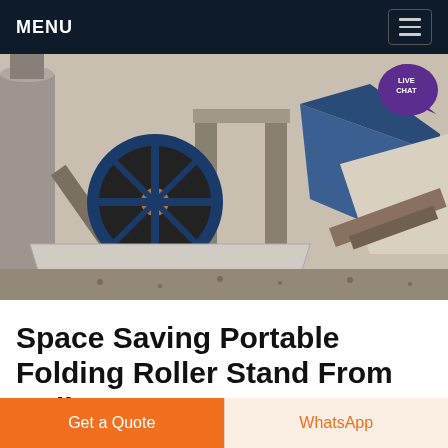MENU
[Figure (photo): Industrial conveyor and roller equipment at a factory or quarry site. Visible is a large blue flywheel/pulley on the left, a conveyor belt structure, concrete pillars, and additional conveyor/screening equipment on the right. Industrial silos visible in background.]
Space Saving Portable Folding Roller Stand From Roll
The portable folding conveyor unit assembles easily and